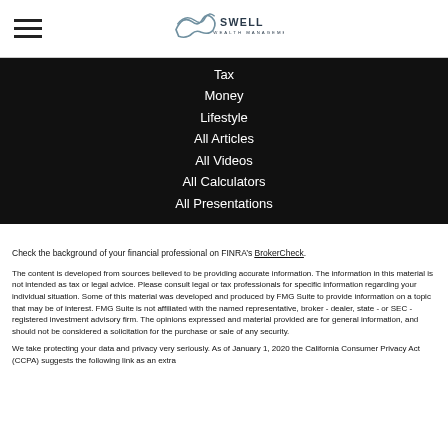[Figure (logo): Swell Wealth Management logo with wave graphic and text]
Tax
Money
Lifestyle
All Articles
All Videos
All Calculators
All Presentations
Check the background of your financial professional on FINRA’s BrokerCheck.
The content is developed from sources believed to be providing accurate information. The information in this material is not intended as tax or legal advice. Please consult legal or tax professionals for specific information regarding your individual situation. Some of this material was developed and produced by FMG Suite to provide information on a topic that may be of interest. FMG Suite is not affiliated with the named representative, broker - dealer, state - or SEC - registered investment advisory firm. The opinions expressed and material provided are for general information, and should not be considered a solicitation for the purchase or sale of any security.
We take protecting your data and privacy very seriously. As of January 1, 2020 the California Consumer Privacy Act (CCPA) suggests the following link as an extra